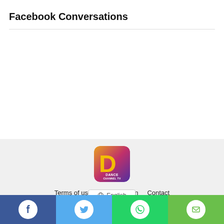Facebook Conversations
[Figure (logo): Dance Channel TV logo — square with gradient purple/orange background and large yellow 'D' letter with 'DANCE CHANNEL TV' text below]
Terms of use   DataDeletion   Contact
Copyright © 2022 Dance Buzz. All rights reserved.
[Figure (screenshot): Language selector button showing globe icon and 'English' text]
[Figure (infographic): Social media share bar with four buttons: Facebook (blue), Twitter (light blue), WhatsApp (green), Email (green)]